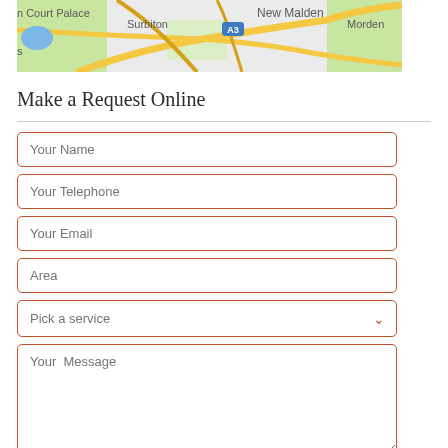[Figure (map): Google Maps snippet showing New Malden, Surbiton, Morden, and Hampton Court Palace area with roads including A3]
Make a Request Online
Your Name
Your Telephone
Your Email
Area
Pick a service
Your Message